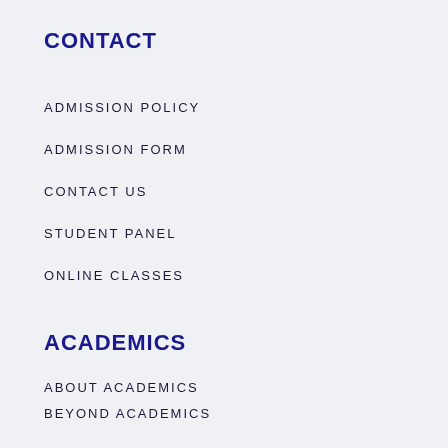CONTACT
ADMISSION POLICY
ADMISSION FORM
CONTACT US
STUDENT PANEL
ONLINE CLASSES
ACADEMICS
ABOUT ACADEMICS
BEYOND ACADEMICS
INFRASTRUCTURE
PRE-PRIMARY PROGRAM